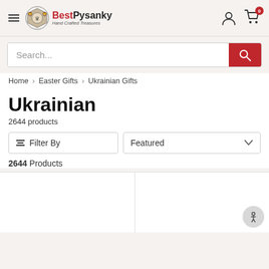BestPysanky Hand Crafted Treasures — navigation header with hamburger menu, logo, account icon, cart (0)
Search...
Home › Easter Gifts › Ukrainian Gifts
Ukrainian
2644 products
Filter By
Featured
2644 Products